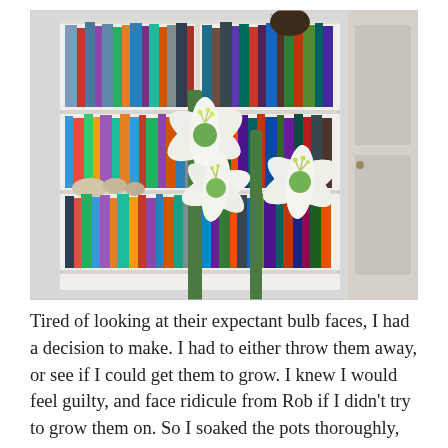[Figure (photo): Three large white amaryllis flowers in bloom, with green stems and yellow stamens, photographed in front of a white bookshelf filled with books. A wooden bird sculpture is visible on top of the bookshelf.]
Tired of looking at their expectant bulb faces, I had a decision to make. I had to either throw them away, or see if I could get them to grow. I knew I would feel guilty, and face ridicule from Rob if I didn't try to grow them on. So I soaked the pots thoroughly, and moved them to an all